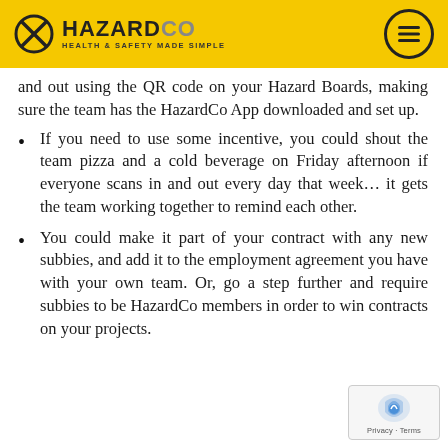HAZARDCO HEALTH & SAFETY MADE SIMPLE
and out using the QR code on your Hazard Boards, making sure the team has the HazardCo App downloaded and set up.
If you need to use some incentive, you could shout the team pizza and a cold beverage on Friday afternoon if everyone scans in and out every day that week… it gets the team working together to remind each other.
You could make it part of your contract with any new subbies, and add it to the employment agreement you have with your own team. Or, go a step further and require subbies to be HazardCo members in order to win contracts on your projects.